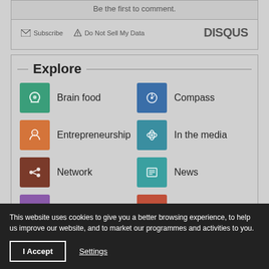Be the first to comment.
Subscribe  Do Not Sell My Data  DISQUS
Explore
Brain food
Compass
Entrepreneurship
In the media
Network
News
Reasons why
The lowdown
This website uses cookies to give you a better browsing experience, to help us improve our website, and to market our programmes and activities to you.
I Accept
Settings